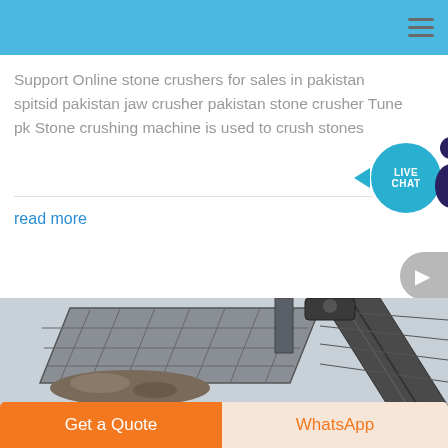Support Online stone crushers for sales in pakistan spitsid pakistan jaw crusher pakistan stone crusher Tune pk Stone crushing machine is used to crush stones
read more
[Figure (photo): Industrial stone crushing machinery - vibratory screen and conveyor belt equipment]
Get a Quote
WhatsApp